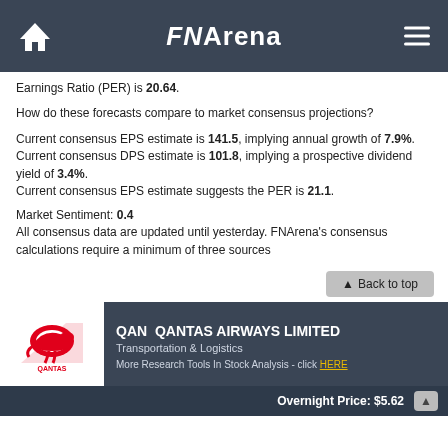FNArena
Earnings Ratio (PER) is 20.64.
How do these forecasts compare to market consensus projections?
Current consensus EPS estimate is 141.5, implying annual growth of 7.9%.
Current consensus DPS estimate is 101.8, implying a prospective dividend yield of 3.4%.
Current consensus EPS estimate suggests the PER is 21.1.
Market Sentiment: 0.4
All consensus data are updated until yesterday. FNArena's consensus calculations require a minimum of three sources
▲ Back to top
QAN  QANTAS AIRWAYS LIMITED
Transportation & Logistics
More Research Tools In Stock Analysis - click HERE
Overnight Price: $5.62